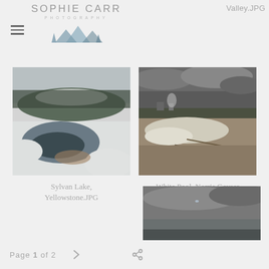SOPHIE CARR PHOTOGRAPHY
Valley.JPG
[Figure (photo): Sylvan Lake, Yellowstone — snowy winter scene with open water reflecting sky and trees, surrounded by snow-covered ground and conifer trees with hills in background]
Sylvan Lake, Yellowstone.JPG
[Figure (photo): White Pool, Norris Geyser Basin — wide view of geothermal basin with white mineral deposits, fallen logs, steam rising, under dramatic stormy grey sky]
White Pool, Norris Geyser Basin.JPG
[Figure (photo): Partial photo at bottom right — wide landscape under dramatic cloudy sky, partially visible]
Page 1 of 2